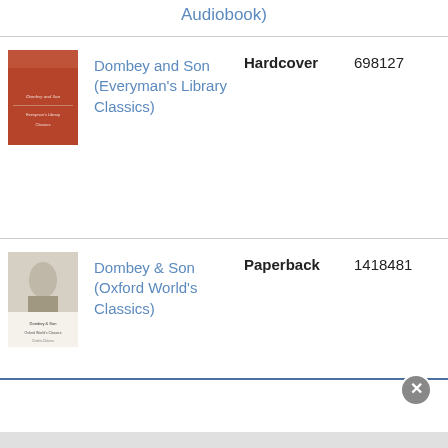Audiobook)
Dombey and Son (Everyman's Library Classics) | Hardcover | 698127
Dombey & Son (Oxford World's Classics) | Paperback | 1418481
Dombey and Son (Classic ... | Audio CD | 7077912